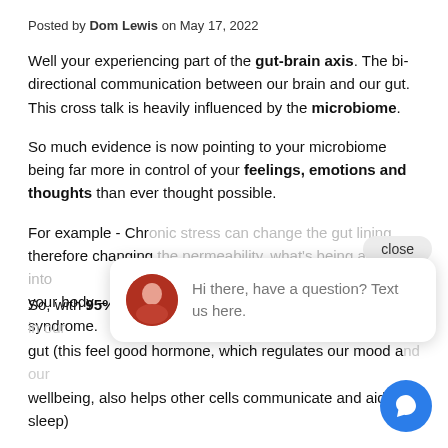Posted by Dom Lewis on May 17, 2022
Well your experiencing part of the gut-brain axis. The bi-directional communication between our brain and our gut. This cross talk is heavily influenced by the microbiome.
So much evidence is now pointing to your microbiome being far more in control of your feelings, emotions and thoughts than ever thought possible.
For example - Chronic stress can change the gut lining, therefore changing the permeability, what's being allowed into your body – good and bad. A common issue is leaky gut syndrome.
So, with 95% of the serotonin we make being produced in our gut (this feel good hormone, which regulates our mood and wellbeing, also helps other cells communicate and aids sleep)